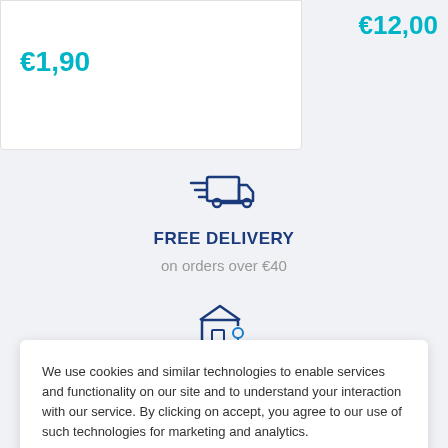€1,90
€12,00
[Figure (illustration): Fast delivery truck icon in outline style with speed lines, dark blue]
FREE DELIVERY
on orders over €40
[Figure (illustration): Store/shop icon with a location pin overlay, dark blue outline style]
We use cookies and similar technologies to enable services and functionality on our site and to understand your interaction with our service. By clicking on accept, you agree to our use of such technologies for marketing and analytics.
Accept
SATISFIED OR REFUNDED